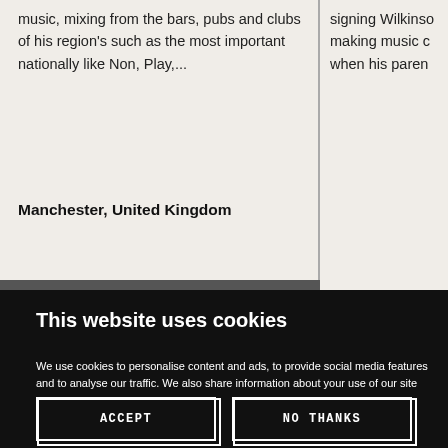music, mixing from the bars, pubs and clubs of his region's such as the most important nationally like Non, Play,...
signing Wilkinso making music c when his paren
Manchester, United Kingdom
This website uses cookies
We use cookies to personalise content and ads, to provide social media features and to analyse our traffic. We also share information about your use of our site with our social media, advertising and analytics partners who may combine it with other information that you've provided to them or that they've collected from your use of their services
ACCEPT
NO THANKS